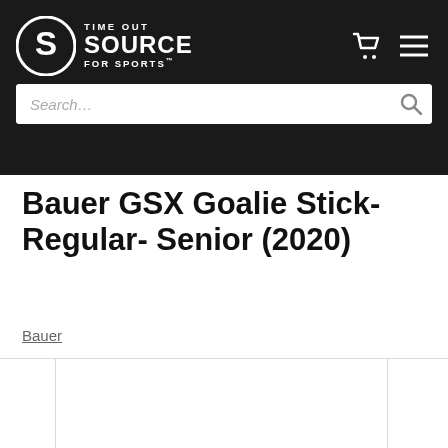TIME OUT SOURCE FOR SPORTS
Bauer GSX Goalie Stick- Regular- Senior (2020)
Bauer
[Figure (photo): Product image carousel area showing main product display panel with two smaller thumbnail panels on either side, all empty/white in this view]